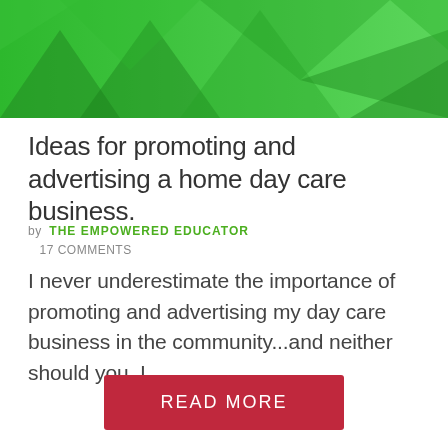[Figure (illustration): Green geometric hero banner image with triangular shapes in various shades of green]
Ideas for promoting and advertising a home day care business.
by  THE EMPOWERED EDUCATOR
   17 COMMENTS
I never underestimate the importance of promoting and advertising my day care business in the community...and neither should you. I...
READ MORE